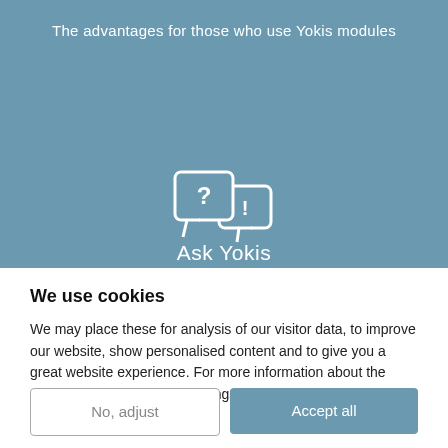[Figure (screenshot): Blue background section showing the text 'The advantages for those who use Yokis modules' at top, a white chat bubble icon with question mark and exclamation mark in the center, and 'Ask Yokis' text at the bottom of the blue area.]
We use cookies
We may place these for analysis of our visitor data, to improve our website, show personalised content and to give you a great website experience. For more information about the cookies we use open the settings.